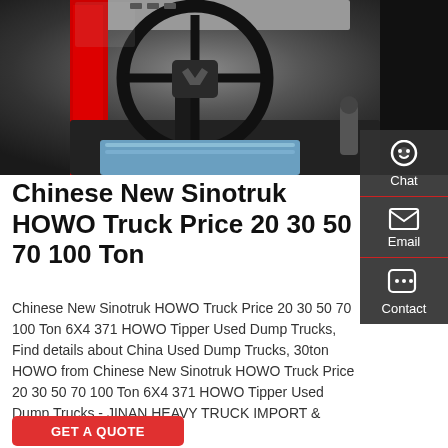[Figure (photo): Interior photo of a Sinotruk HOWO truck cab showing steering wheel, dashboard, gear shift, and wrapped driver seat with red door panel on the left]
Chinese New Sinotruk HOWO Truck Price 20 30 50 70 100 Ton
Chinese New Sinotruk HOWO Truck Price 20 30 50 70 100 Ton 6X4 371 HOWO Tipper Used Dump Trucks, Find details about China Used Dump Trucks, 30ton HOWO from Chinese New Sinotruk HOWO Truck Price 20 30 50 70 100 Ton 6X4 371 HOWO Tipper Used Dump Trucks - JINAN HEAVY TRUCK IMPORT & EXPORT CO., LTD.
GET A QUOTE